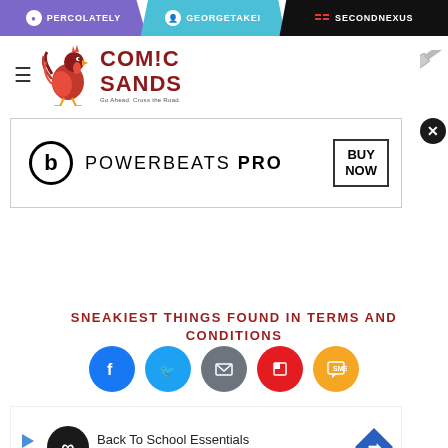PERCOLATELY | GEORGETAKEI | SECONDNEXUS
[Figure (logo): Comic Sands logo with rooster illustration and text]
[Figure (screenshot): Beats Powerbeats Pro advertisement banner with BUY NOW button]
SNEAKIEST THINGS FOUND IN TERMS AND CONDITIONS
[Figure (infographic): Social share buttons: Facebook, Twitter, Email, Flipboard, SMS]
[Figure (screenshot): Back To School Essentials - Leesburg Premium Outlets advertisement]